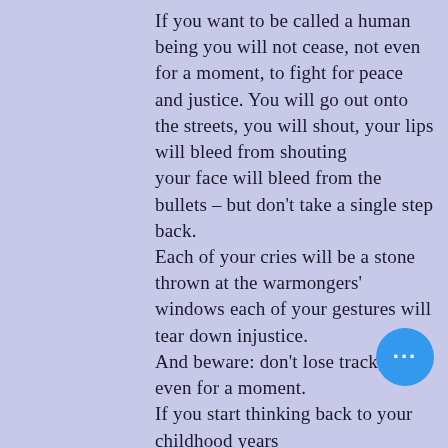If you want to be called a human being you will not cease, not even for a moment, to fight for peace and justice. You will go out onto the streets, you will shout, your lips will bleed from shouting your face will bleed from the bullets – but don't take a single step back. Each of your cries will be a stone thrown at the warmongers' windows each of your gestures will tear down injustice. And beware: don't lose track, not even for a moment. If you start thinking back to your childhood years you will let thousands of children be shattered into pieces as they play unsuspectingly in cities if you look for a moment at the s… people tomorrow will be lost in t… darkness of war if …